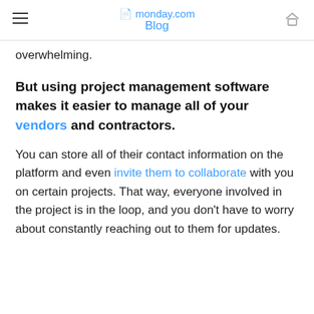monday.com Blog
overwhelming.
But using project management software makes it easier to manage all of your vendors and contractors.
You can store all of their contact information on the platform and even invite them to collaborate with you on certain projects. That way, everyone involved in the project is in the loop, and you don't have to worry about constantly reaching out to them for updates.